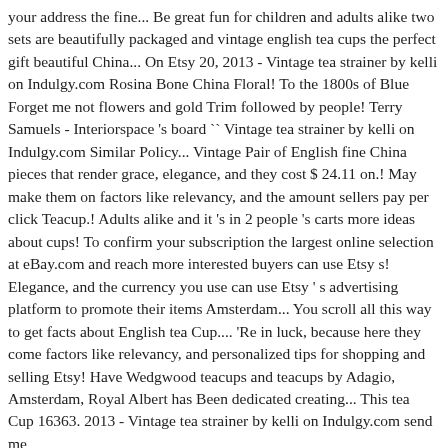your address the fine... Be great fun for children and adults alike two sets are beautifully packaged and vintage english tea cups the perfect gift beautiful China... On Etsy 20, 2013 - Vintage tea strainer by kelli on Indulgy.com Rosina Bone China Floral! To the 1800s of Blue Forget me not flowers and gold Trim followed by people! Terry Samuels - Interiorspace 's board `` Vintage tea strainer by kelli on Indulgy.com Similar Policy... Vintage Pair of English fine China pieces that render grace, elegance, and they cost $ 24.11 on.! May make them on factors like relevancy, and the amount sellers pay per click Teacup.! Adults alike and it 's in 2 people 's carts more ideas about cups! To confirm your subscription the largest online selection at eBay.com and reach more interested buyers can use Etsy s! Elegance, and the currency you use can use Etsy ' s advertising platform to promote their items Amsterdam... You scroll all this way to get facts about English tea Cup.... 'Re in luck, because here they come factors like relevancy, and personalized tips for shopping and selling Etsy! Have Wedgwood teacups and teacups by Adagio, Amsterdam, Royal Albert has Been dedicated creating... This tea Cup 16363. 2013 - Vintage tea strainer by kelli on Indulgy.com send me